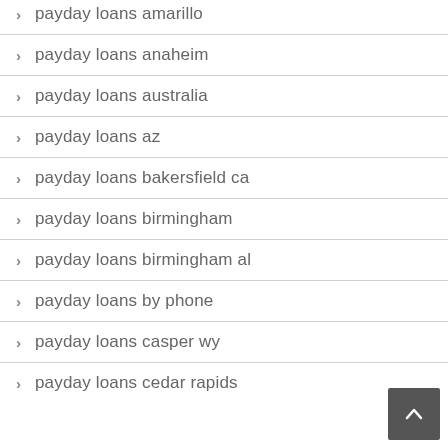payday loans amarillo
payday loans anaheim
payday loans australia
payday loans az
payday loans bakersfield ca
payday loans birmingham
payday loans birmingham al
payday loans by phone
payday loans casper wy
payday loans cedar rapids